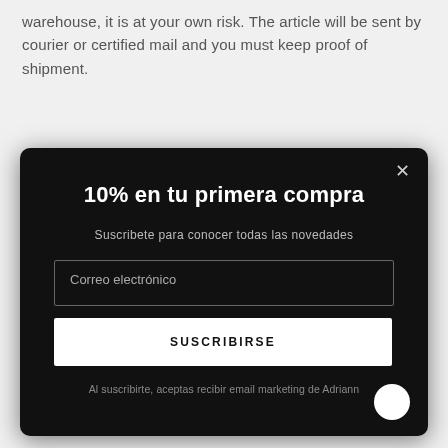warehouse, it is at your own risk. The article will be sent by courier or certified mail and you must keep proof of shipment.
[Figure (screenshot): Dark modal popup overlay on a webpage showing a newsletter subscription offer: '10% en tu primera compra', subtitle 'Suscribete para conocer todas las novedades', an email input field labeled 'Correo electrónico', a white 'SUSCRIBIRSE' button, and footer text 'Al suscribirte, aceptas recibir email marketing de Adriann'. A close (X) button is in the top-right corner and a chat bubble icon is in the bottom-right.]